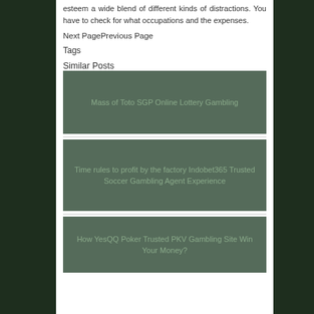esteem a wide blend of different kinds of distractions. You have to check for what occupations and the expenses.
Next PagePrevious Page
Tags
Similar Posts
[Figure (other): Post card with text: Mass of Toto SGP Online Lottery Gambling]
[Figure (other): Post card with text: Time rules to profit by the factory Indobet365 Trusted Soccer Gambling Agent Experience]
[Figure (other): Post card with text: How YesQQ Poker Trusted PKV Gambling Site Win Your Money?]